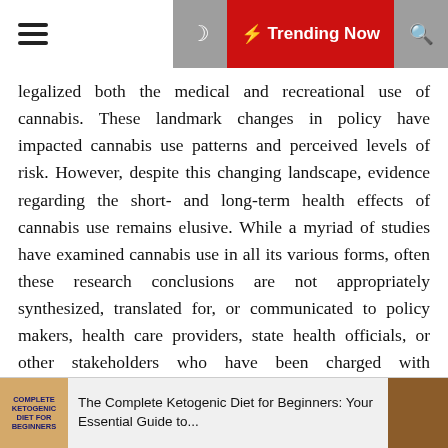☰ Trending Now 🔍
legalized both the medical and recreational use of cannabis. These landmark changes in policy have impacted cannabis use patterns and perceived levels of risk. However, despite this changing landscape, evidence regarding the short- and long-term health effects of cannabis use remains elusive. While a myriad of studies have examined cannabis use in all its various forms, often these research conclusions are not appropriately synthesized, translated for, or communicated to policy makers, health care providers, state health officials, or other stakeholders who have been charged with influencing and enacting policies, procedures, and laws related to cannabis use. Unlike other controlled substances such as alcohol or tobacco, no accepted standards for safe use or appropriate dose are available to help guide individuals as they make choices regarding the issues of if, when, where, and how to use cannabis safely and, in regard to therapeutic uses, effectively. Shifting public sentiment, conflicting and impeded scientific research, and legislative battles have
The Complete Ketogenic Diet for Beginners: Your Essential Guide to...